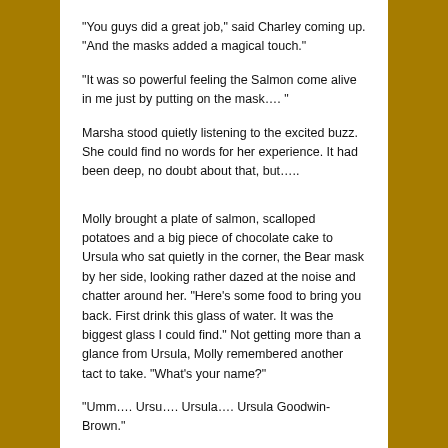“You guys did a great job,” said Charley coming up. “And the masks added a magical touch.”
“It was so powerful feeling the Salmon come alive in me just by putting on the mask…. “
Marsha stood quietly listening to the excited buzz.  She could find no words for her experience. It had been deep, no doubt about that, but…..
Molly brought a plate of salmon, scalloped potatoes and a big piece of chocolate cake to Ursula who sat quietly in the corner, the Bear mask by her side, looking rather dazed at the noise and chatter around her. “Here’s some food to bring you back. First drink this glass of water. It was the biggest glass I could find.” Not getting more than a glance from Ursula, Molly remembered another tact to take. “What’s your name?”
“Umm…. Ursu…. Ursula…. Ursula Goodwin-Brown.”